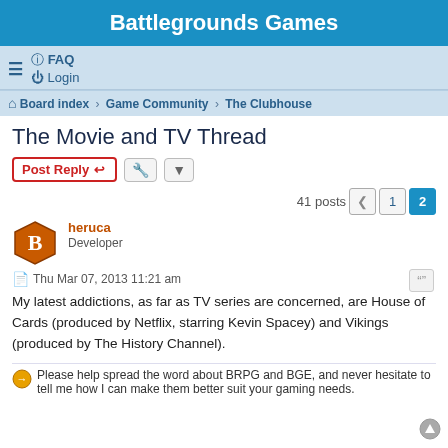Battlegrounds Games
≡   FAQ  Login
Board index › Game Community › The Clubhouse
The Movie and TV Thread
Post Reply   [tools]   41 posts  < 1  2
heruca
Developer
Thu Mar 07, 2013 11:21 am
My latest addictions, as far as TV series are concerned, are House of Cards (produced by Netflix, starring Kevin Spacey) and Vikings (produced by The History Channel).
Please help spread the word about BRPG and BGE, and never hesitate to tell me how I can make them better suit your gaming needs.